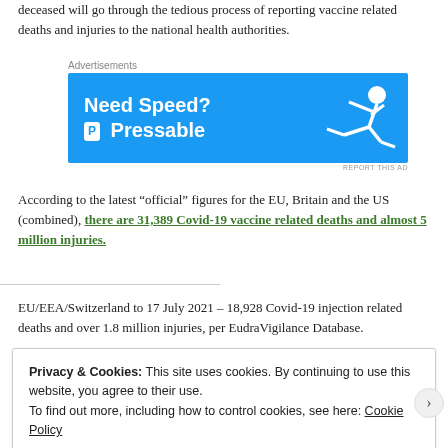deceased will go through the tedious process of reporting vaccine related deaths and injuries to the national health authorities.
[Figure (other): Advertisement banner for Pressable web hosting: blue background, white bold text 'Need Speed? Get Pressable' with logo icon, figure of person flying to the right.]
According to the latest “official” figures for the EU, Britain and the US (combined), there are 31,389 Covid-19 vaccine related deaths and almost 5 million injuries.
EU/EEA/Switzerland to 17 July 2021 – 18,928 Covid-19 injection related deaths and over 1.8 million injuries, per EudraVigilance Database.
Privacy & Cookies: This site uses cookies. By continuing to use this website, you agree to their use.
To find out more, including how to control cookies, see here: Cookie Policy